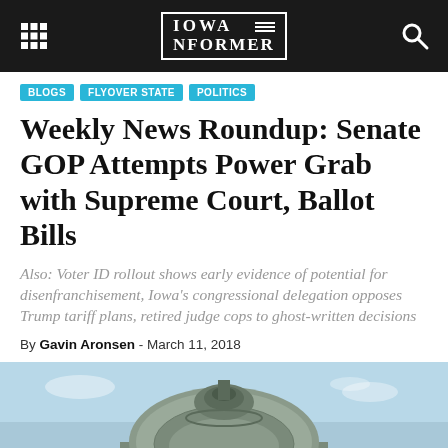Iowa Informer
BLOGS
FLYOVER STATE
POLITICS
Weekly News Roundup: Senate GOP Attempts Power Grab with Supreme Court, Ballot Bills
Also: Voter ID rollout shows early evidence of potential for disenfranchisement, Iowa's congressional delegation opposes Trump tariff plans, retired judge cops to ghost-written decisions
By Gavin Aronsen - March 11, 2018
[Figure (photo): Photo of a government building dome, likely the Iowa State Capitol, against a blue sky]